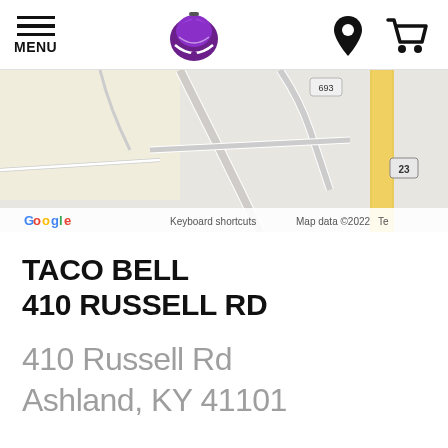MENU
[Figure (map): Google Maps screenshot showing street map with route 693, route 23, roads, and yellow highway near Ashland, KY. Google logo and 'Keyboard shortcuts  Map data ©2022  Te...' visible at bottom.]
TACO BELL
410 RUSSELL RD
410 Russell Rd
Ashland, KY 41101